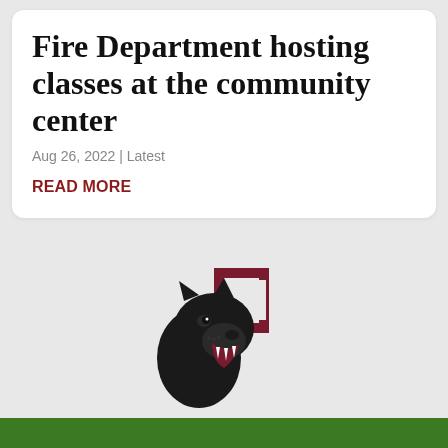Fire Department hosting classes at the community center
Aug 26, 2022 | Latest
READ MORE
[Figure (logo): Panther mascot logo with black panther head and dark red block letter P]
[Figure (photo): Football resting on green grass football field with white yard lines visible]